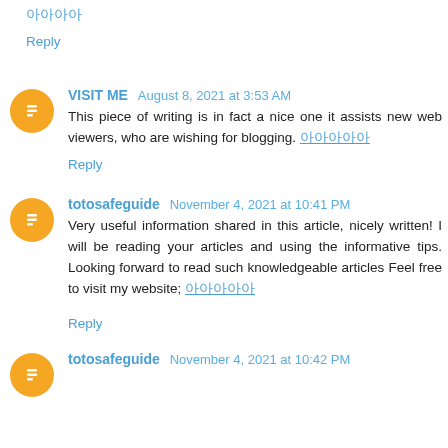아아아아
Reply
VISIT ME  August 8, 2021 at 3:53 AM
This piece of writing is in fact a nice one it assists new web viewers, who are wishing for blogging. 아아아아아
Reply
totosafeguide  November 4, 2021 at 10:41 PM
Very useful information shared in this article, nicely written! I will be reading your articles and using the informative tips. Looking forward to read such knowledgeable articles Feel free to visit my website; 아아아아아
Reply
totosafeguide  November 4, 2021 at 10:42 PM